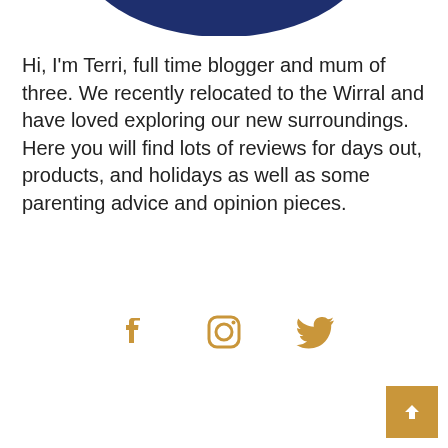[Figure (photo): Bottom portion of a circular profile photo showing dark navy blue fabric/clothing, cropped at the top of the page.]
Hi, I'm Terri, full time blogger and mum of three. We recently relocated to the Wirral and have loved exploring our new surroundings. Here you will find lots of reviews for days out, products, and holidays as well as some parenting advice and opinion pieces.
[Figure (infographic): Three social media icons in golden/amber color: Facebook (f), Instagram (camera outline), and Twitter (bird).]